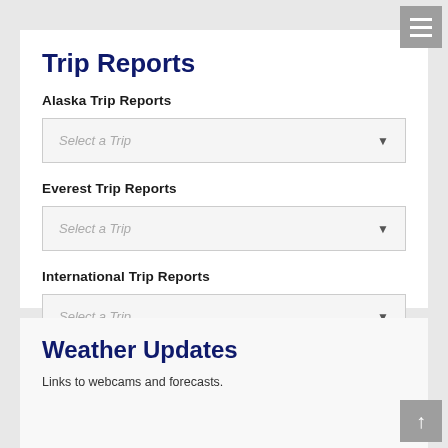Trip Reports
Alaska Trip Reports
Select a Trip
Everest Trip Reports
Select a Trip
International Trip Reports
Select a Trip
Weather Updates
Links to webcams and forecasts.